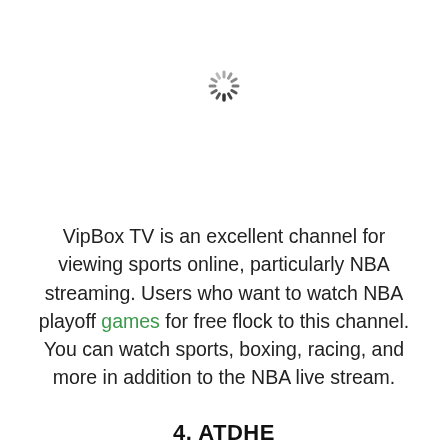[Figure (illustration): A loading spinner icon (circular dashed/dotted ring loader) centered near the top of the page]
VipBox TV is an excellent channel for viewing sports online, particularly NBA streaming. Users who want to watch NBA playoff games for free flock to this channel. You can watch sports, boxing, racing, and more in addition to the NBA live stream.
4. ATDHE